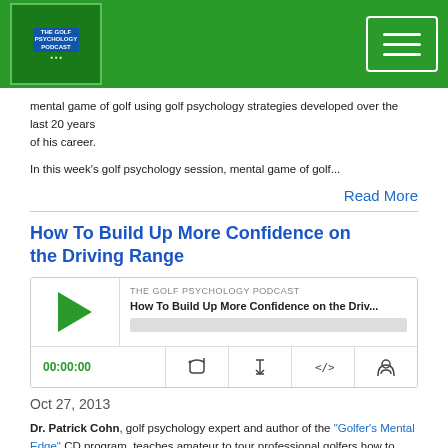The Golf Psychology Podcast
mental game of golf using golf psychology strategies developed over the last 20 years of his career.
In this week's golf psychology session, mental game of golf...
Read More
How To Build Up More Confidence on the Driving Range
[Figure (other): Podcast player widget for 'How To Build Up More Confidence on the Driv...' from The Golf Psychology Podcast, showing play button, progress bar, time 00:00:00, and control icons]
Oct 27, 2013
Dr. Patrick Cohn, golf psychology expert and author of the "Golfer's Mental Edge" CD program, teaches amateur to tour professional golfers how to improve their